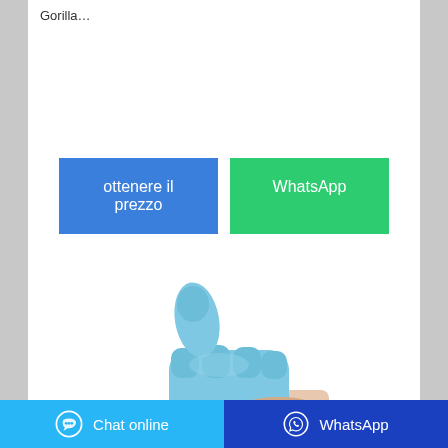Gorilla…
ottenere il prezzo
WhatsApp
[Figure (photo): Hand wearing a blue nitrile glove giving a thumbs up gesture, on white background]
Chat online | WhatsApp